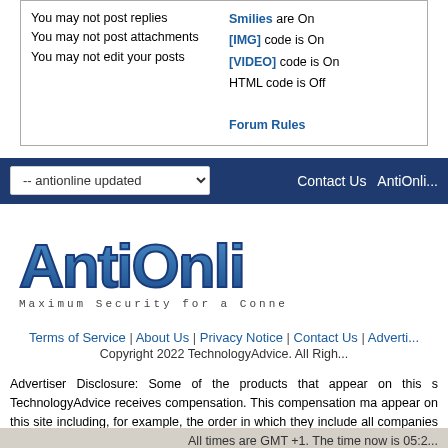| You may not post replies | Smilies are On |
| You may not post attachments | [IMG] code is On |
| You may not edit your posts | [VIDEO] code is On |
|  | HTML code is Off |
|  | Forum Rules |
-- antionline updated   Contact Us   AntiOnli...
[Figure (logo): AntiOnline logo with tagline Maximum Security for a Conne...]
Terms of Service | About Us | Privacy Notice | Contact Us | Adverti...
Copyright 2022 TechnologyAdvice. All Righ...
Advertiser Disclosure: Some of the products that appear on this s... TechnologyAdvice receives compensation. This compensation ma... appear on this site including, for example, the order in which they... include all companies or all types of products available in the marko...
All times are GMT +1. The time now is 05:2...